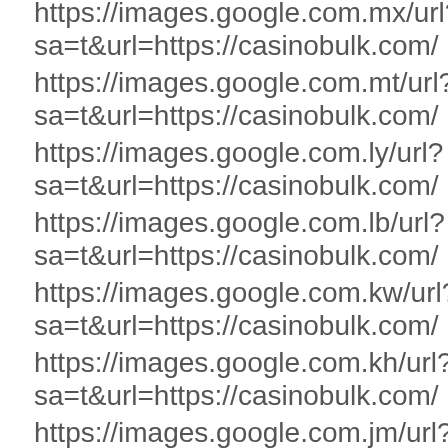https://images.google.com.mx/url?sa=t&url=https://casinobulk.com/
https://images.google.com.mt/url?sa=t&url=https://casinobulk.com/
https://images.google.com.ly/url?sa=t&url=https://casinobulk.com/
https://images.google.com.lb/url?sa=t&url=https://casinobulk.com/
https://images.google.com.kw/url?sa=t&url=https://casinobulk.com/
https://images.google.com.kh/url?sa=t&url=https://casinobulk.com/
https://images.google.com.jm/url?sa=t&url=https://casinobulk.com/
https://images.google.com.hk/url?sa=t&url=https://casinobulk.com/